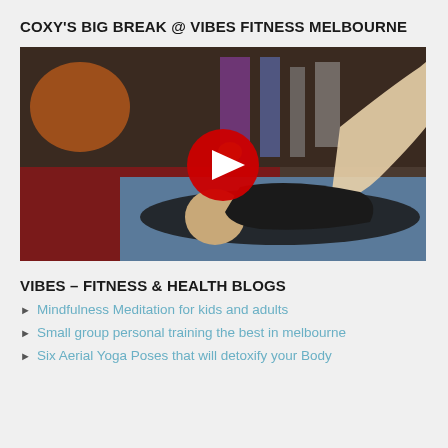COXY'S BIG BREAK @ VIBES FITNESS MELBOURNE
[Figure (screenshot): YouTube video thumbnail showing a man lying on the floor in a fitness studio doing an exercise. A red YouTube play button is overlaid in the center.]
VIBES – FITNESS & HEALTH BLOGS
Mindfulness Meditation for kids and adults
Small group personal training the best in melbourne
Six Aerial Yoga Poses that will detoxify your Body